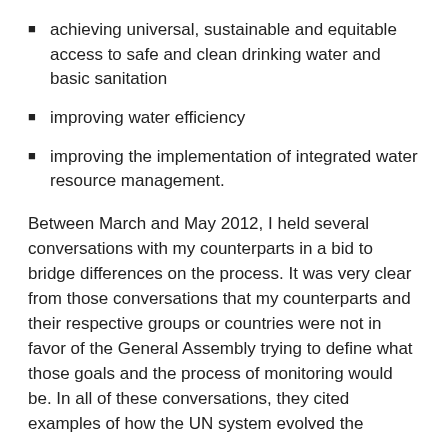achieving universal, sustainable and equitable access to safe and clean drinking water and basic sanitation
improving water efficiency
improving the implementation of integrated water resource management.
Between March and May 2012, I held several conversations with my counterparts in a bid to bridge differences on the process. It was very clear from those conversations that my counterparts and their respective groups or countries were not in favor of the General Assembly trying to define what those goals and the process of monitoring would be. In all of these conversations, they cited examples of how the UN system evolved the